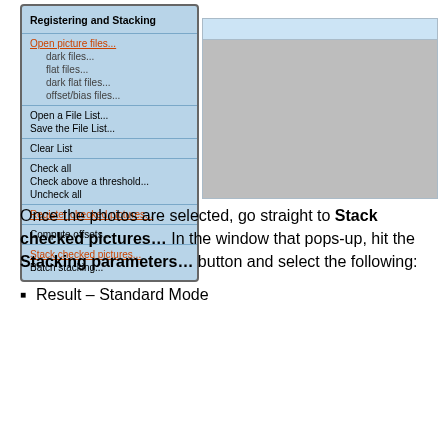[Figure (screenshot): Screenshot of a software menu titled 'Registering and Stacking' with items including Open picture files, dark files, flat files, dark flat files, offset/bias files, Open a File List, Save the File List, Clear List, Check all, Check above a threshold, Uncheck all, Register checked pictures, Compute offsets, Stack checked pictures, Batch stacking. Right side shows a light blue bar and large gray panel.]
Once the photos are selected, go straight to Stack checked pictures... In the window that pops-up, hit the Stacking parameters... button and select the following:
Result – Standard Mode